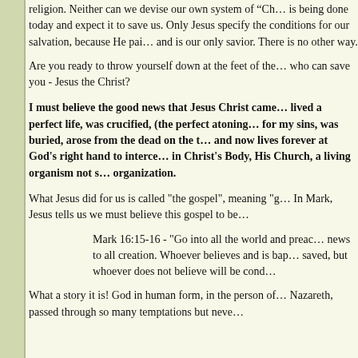religion. Neither can we devise our own system of "Ch... is being done today and expect it to save us. Only Jesus specify the conditions for our salvation, because He pai... and is our only savior. There is no other way.
Are you ready to throw yourself down at the feet of the... who can save you - Jesus the Christ?
I must believe the good news that Jesus Christ came... lived a perfect life, was crucified, (the perfect atoning... for my sins, was buried, arose from the dead on the t... and now lives forever at God's right hand to intercee... in Christ's Body, His Church, a living organism not s... organization.
What Jesus did for us is called "the gospel", meaning "g... In Mark, Jesus tells us we must believe this gospel to be...
Mark 16:15-16 - "Go into all the world and preac... news to all creation. Whoever believes and is bap... saved, but whoever does not believe will be cond...
What a story it is! God in human form, in the person of... Nazareth, passed through so many temptations but neve...